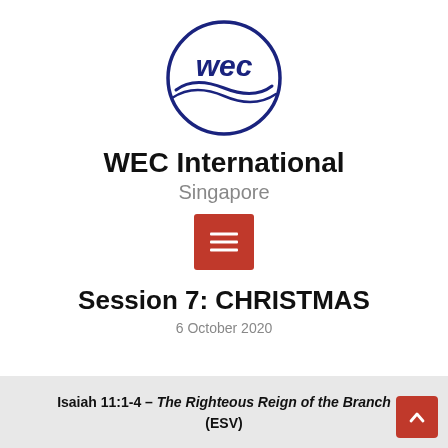[Figure (logo): WEC International circular logo with wave and 'wec' text in blue]
WEC International
Singapore
[Figure (other): Red hamburger menu button icon with three white horizontal lines]
Session 7: CHRISTMAS
6 October 2020
Isaiah 11:1-4 – The Righteous Reign of the Branch (ESV)